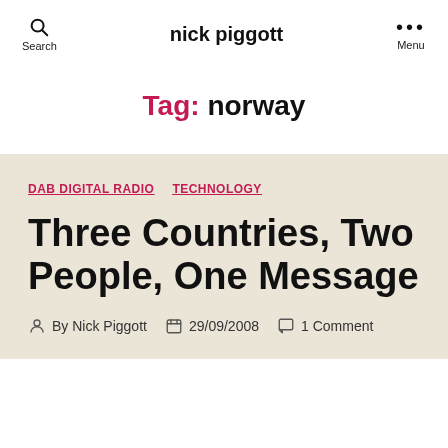nick piggott
Tag: norway
DAB DIGITAL RADIO  TECHNOLOGY
Three Countries, Two People, One Message
By Nick Piggott  29/09/2008  1 Comment